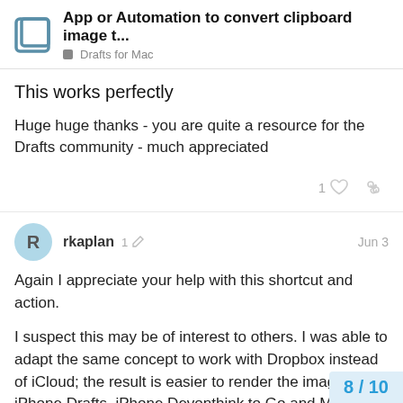App or Automation to convert clipboard image t... | Drafts for Mac
This works perfectly
Huge huge thanks - you are quite a resource for the Drafts community - much appreciated
rkaplan   1  Jun 3
Again I appreciate your help with this shortcut and action.
I suspect this may be of interest to others. I was able to adapt the same concept to work with Dropbox instead of iCloud; the result is easier to render the images on iPhone Drafts, iPhone Devonthink to Go and Mac Devonthink 3.
8 / 10